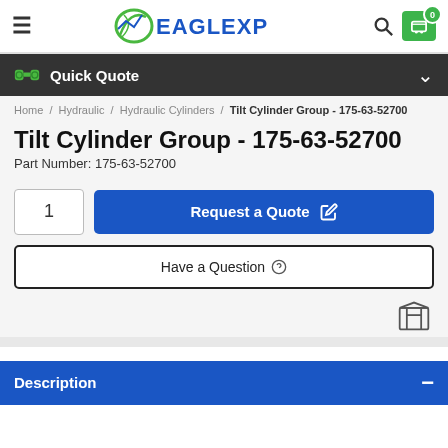[Figure (logo): EagleXP logo with green swoosh and blue text]
Quick Quote
Home / Hydraulic / Hydraulic Cylinders / Tilt Cylinder Group - 175-63-52700
Tilt Cylinder Group - 175-63-52700
Part Number: 175-63-52700
Request a Quote
Have a Question
Description